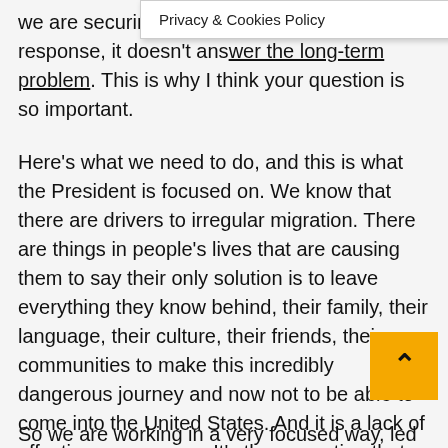we are securing the bord[er as a] short-term response, it doesn't answer the long-term problem. This is why I think your question is so important.
Here's what we need to do, and this is what the President is focused on. We know that there are drivers to irregular migration. There are things in people's lives that are causing them to say their only solution is to leave everything they know behind, their family, their language, their culture, their friends, their communities to make this incredibly dangerous journey and now not to be able to come into the United States. And it is a lack of effective governance. It's the corruption that they're dealing with in their lives. It's profound insecurity because of violence and gangs. And maybe most fundamentally of all, it's a lack of opportunity. It's a lack of the ability to know that you're going to have a job, a paycheck, the ability to food on the table for yourself, for your family, and to a better life.
So we are working in a very focused way, led by Vice